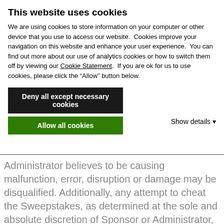This website uses cookies
We are using cookies to store information on your computer or other device that you use to access our website.  Cookies improve your navigation on this website and enhance your user experience.  You can find out more about our use of analytics cookies or how to switch them off by viewing our Cookie Statement.  If you are ok for us to use cookies, please click the “Allow” button below.
Deny all except necessary cookies
Allow all cookies
Show details ▾
Administrator believes to be causing malfunction, error, disruption or damage may be disqualified. Additionally, any attempt to cheat the Sweepstakes, as determined at the sole and absolute discretion of Sponsor or Administrator, may result in immediate disqualification of the entrant, as well as other possible consequences, including disqualification from any and all existing and future sweepstakes. ANY ATTEMPT BY A PERSON TO DAMAGE ANY WEBSITE (INCLUDING THE SWEEPSTAKES WEBSITE) OR WIDGET OR UNDERMINE THE LEGITIMATE OPERATION OF